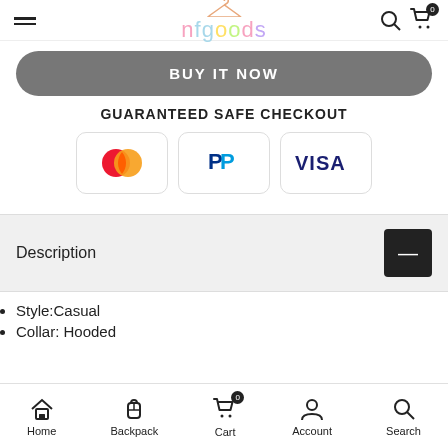nfgoods
BUY IT NOW
GUARANTEED SAFE CHECKOUT
[Figure (logo): Payment icons: Mastercard, PayPal, Visa]
Description
Style:Casual
Collar: Hooded
Home  Backpack  Cart  Account  Search